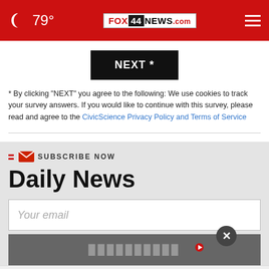[Figure (screenshot): FOX 44 NEWS website header with red background, moon/weather icon showing 79°, FOX44NEWS.com logo in center, hamburger menu on right]
[Figure (screenshot): Black NEXT * button]
* By clicking "NEXT" you agree to the following: We use cookies to track your survey answers. If you would like to continue with this survey, please read and agree to the CivicScience Privacy Policy and Terms of Service
[Figure (screenshot): Subscribe Now Daily News email signup widget with text input field, close button overlay, and Equestic ad banner at bottom reading 'Track horse's injury' with Open button]